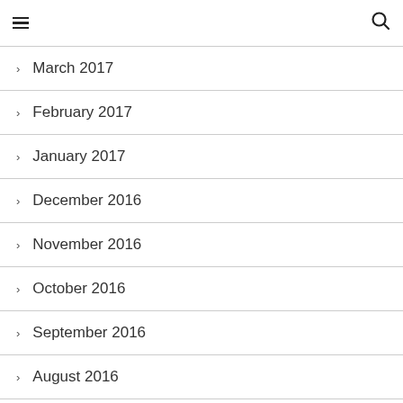≡   🔍
March 2017
February 2017
January 2017
December 2016
November 2016
October 2016
September 2016
August 2016
July 2016